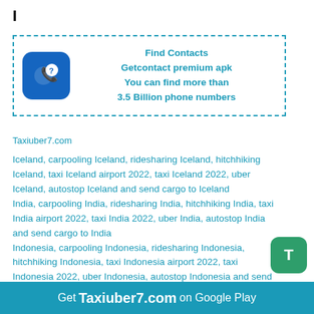I
[Figure (infographic): Find Contacts advertisement box with Getcontact app icon and text: Find Contacts, Getcontact premium apk, You can find more than 3.5 Billion phone numbers]
Taxiuber7.com
Iceland, carpooling Iceland, ridesharing Iceland, hitchhiking Iceland, taxi Iceland airport 2022, taxi Iceland 2022, uber Iceland, autostop Iceland and send cargo to Iceland
India, carpooling India, ridesharing India, hitchhiking India, taxi India airport 2022, taxi India 2022, uber India, autostop India and send cargo to India
Indonesia, carpooling Indonesia, ridesharing Indonesia, hitchhiking Indonesia, taxi Indonesia airport 2022, taxi Indonesia 2022, uber Indonesia, autostop Indonesia and send cargo to Indonesia
Iran, carpooling Iran, ridesharing Iran, hitchhiking Iran, taxi Iran airport 2022, taxi Iran 2022, uber Iran, autostop Iran and send cargo to Iran
Get Taxiuber7.com on Google Play